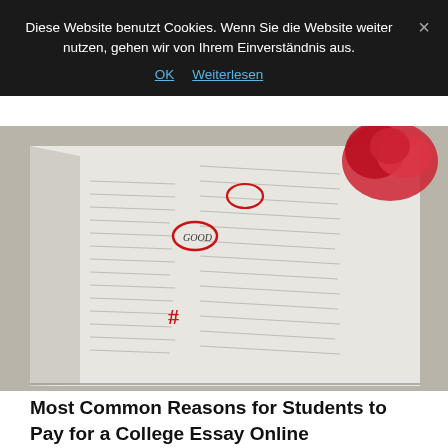Diese Website benutzt Cookies. Wenn Sie die Website weiter nutzen, gehen wir von Ihrem Einverständnis aus.
OK  Weiterlesen
[Figure (photo): Close-up photo of an open book with printed text, red editing marks (circles and hash symbol) in red ink, and a red rose in the upper right corner, placed on a light surface.]
Most Common Reasons for Students to Pay for a College Essay Online
The best place to get original custom papers online. Many of these expert writers hold Master's and Ph. Consumer plays an